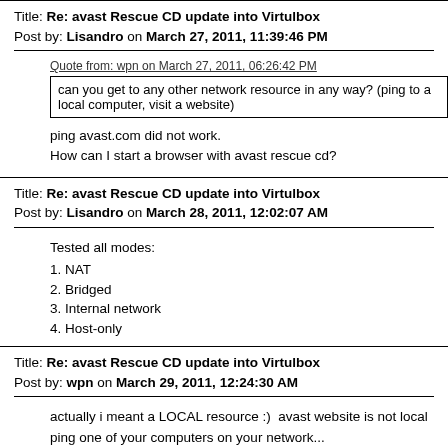Title: Re: avast Rescue CD update into Virtulbox
Post by: Lisandro on March 27, 2011, 11:39:46 PM
Quote from: wpn on March 27, 2011, 06:26:42 PM
can you get to any other network resource in any way? (ping to a local computer, visit a website)
ping avast.com did not work.
How can I start a browser with avast rescue cd?
Title: Re: avast Rescue CD update into Virtulbox
Post by: Lisandro on March 28, 2011, 12:02:07 AM
Tested all modes:
1. NAT
2. Bridged
3. Internal network
4. Host-only
Title: Re: avast Rescue CD update into Virtulbox
Post by: wpn on March 29, 2011, 12:24:30 AM
actually i meant a LOCAL resource :)  avast website is not local
ping one of your computers on your network...

i do think tho that the bootcd doesnt have drivers for the